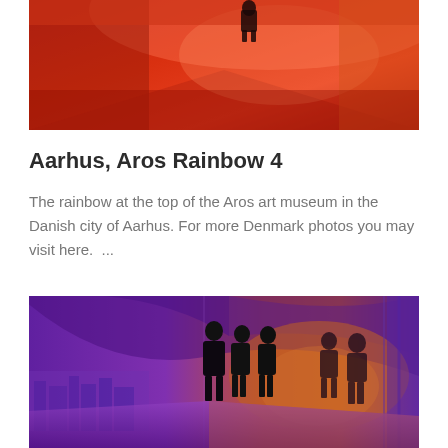[Figure (photo): Interior of Aros art museum rainbow installation, red/orange colored room with a person visible at the top]
Aarhus, Aros Rainbow 4
The rainbow at the top of the Aros art museum in the Danish city of Aarhus. For more Denmark photos you may visit here.  ...
[Figure (photo): Interior of Aros art museum rainbow installation with people silhouetted against purple and orange colored glass panels overlooking the city of Aarhus]